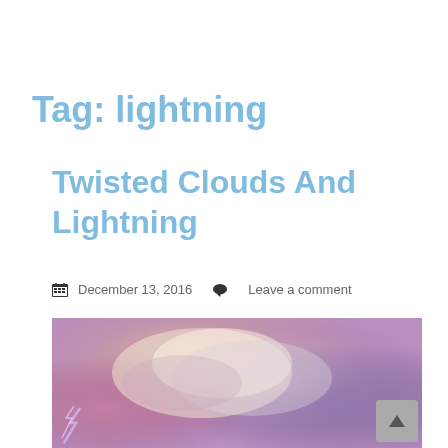Tag: lightning
Twisted Clouds And Lightning
December 13, 2016   Leave a comment
[Figure (photo): Dramatic swirling storm clouds with purple, orange, and white hues with lightning visible at the lower left]